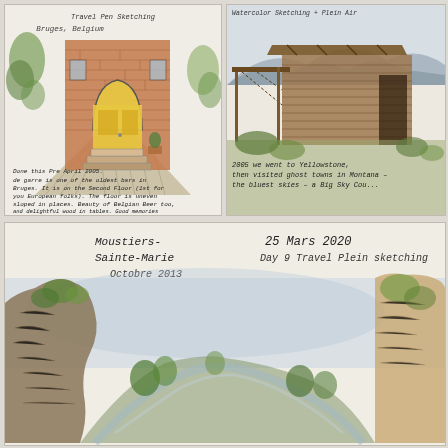[Figure (illustration): Watercolor and ink travel sketch of a brick building entrance in Bruges, Belgium with yellow arched door and steps. Handwritten notes: 'Travel Pen Sketching', 'Bruges, Belgium', and text about visiting in April 2005, describing de Garre as one of the oldest bars in Bruges on the second floor.]
[Figure (illustration): Watercolor and ink travel sketch of an old wooden building/ghost town structure in Montana near Yellowstone. Handwritten notes about visiting Yellowstone in 2005 and ghost towns in Montana with bluest skies and Big Sky Country.]
[Figure (illustration): Watercolor and ink travel sketch of rocky canyon/gorge landscape in Moustiers-Sainte-Marie, October 2013. Handwritten text: '25 Mars 2020 Day 9 Travel Plein sketching', 'Moustiers-Sainte-Marie Octobre 2013'.]